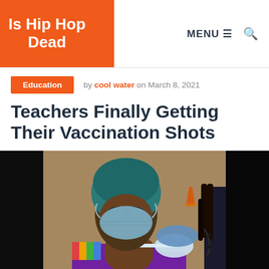Is Hip Hop Dead
Education
by cool water on March 8, 2021
Teachers Finally Getting Their Vaccination Shots
[Figure (photo): A woman wearing a teal head covering, glasses, and a blue surgical mask receiving a vaccination injection in her left arm from a gloved healthcare worker. She is wearing a purple top with colorful accents. The setting appears to be a public vaccination site.]